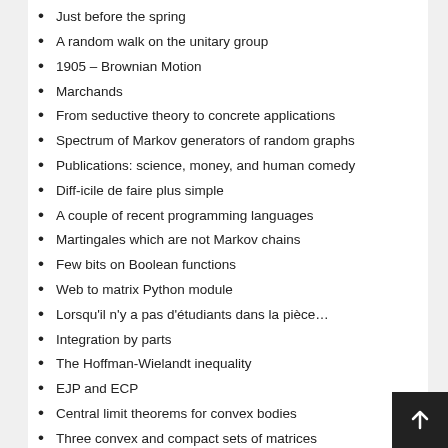Just before the spring
A random walk on the unitary group
1905 – Brownian Motion
Marchands
From seductive theory to concrete applications
Spectrum of Markov generators of random graphs
Publications: science, money, and human comedy
Diff-icile de faire plus simple
A couple of recent programming languages
Martingales which are not Markov chains
Few bits on Boolean functions
Web to matrix Python module
Lorsqu'il n'y a pas d'étudiants dans la pièce…
Integration by parts
The Hoffman-Wielandt inequality
EJP and ECP
Central limit theorems for convex bodies
Three convex and compact sets of matrices
Numerics with Python